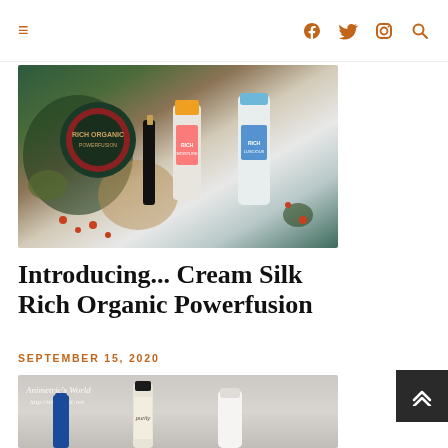≡  f  t  📷  🔍
[Figure (photo): Flat lay photo of Cream Silk Rich Organic Powerfusion hair care products arranged on decorative shavings with leaves and berries]
Introducing... Cream Silk Rich Organic Powerfusion
SEPTEMBER 15, 2020
[Figure (photo): Photo of hair care products including a blue cap bottle, a purity labeled bottle, and a white bottle, watermarked with Animetric's World http://animetric.net]